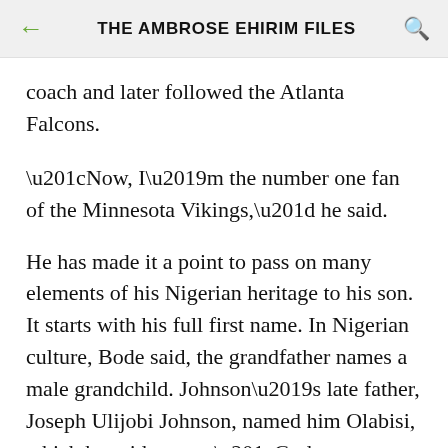THE AMBROSE EHIRIM FILES
coach and later followed the Atlanta Falcons.
“Now, I’m the number one fan of the Minnesota Vikings,” he said.
He has made it a point to pass on many elements of his Nigerian heritage to his son. It starts with his full first name. In Nigerian culture, Bode said, the grandfather names a male grandchild. Johnson’s late father, Joseph Ulijobi Johnson, named him Olabisi, which he said means “God at your wealth” in the Yoruba language.